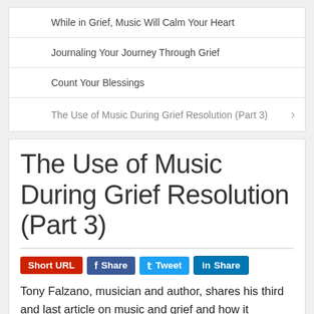While in Grief, Music Will Calm Your Heart
Journaling Your Journey Through Grief
Count Your Blessings
The Use of Music During Grief Resolution (Part 3)
The Use of Music During Grief Resolution (Part 3)
Tony Falzano, musician and author, shares his third and last article on music and grief and how it specifically acts as a healing agent for those grieving a loss. In the previous session, we examined how music can direct our attention from